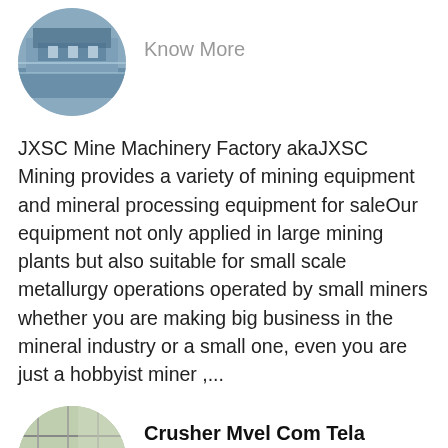[Figure (photo): Oval thumbnail image of industrial mining equipment/facility interior, blue/grey tones]
Know More
JXSC Mine Machinery Factory akaJXSC Mining provides a variety of mining equipment and mineral processing equipment for saleOur equipment not only applied in large mining plants but also suitable for small scale metallurgy operations operated by small miners whether you are making big business in the mineral industry or a small one, even you are just a hobbyist miner ,...
[Figure (photo): Oval thumbnail image of industrial conveyor/processing plant interior, green and red structural elements]
Crusher Mvel Com Tela Vibratria Austrália
Know More
How Processing Plant Configurated And What Equipments Were Used Read More Gold Mining Equipment 86-13879771862 Email Protected Menu